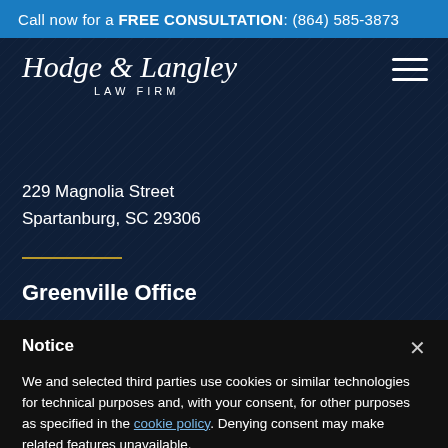Call now for a FREE CONSULTATION: (864) 585-3873
[Figure (logo): Hodge & Langley Law Firm logo in cursive script with subtitle LAW FIRM]
229 Magnolia Street
Spartanburg, SC 29306
Greenville Office
Notice
We and selected third parties use cookies or similar technologies for technical purposes and, with your consent, for other purposes as specified in the cookie policy. Denying consent may make related features unavailable.
You can consent to the use of such technologies by closing this notice, by scrolling this page, by interacting with any link or button outside of this notice or by continuing to browse otherwise.